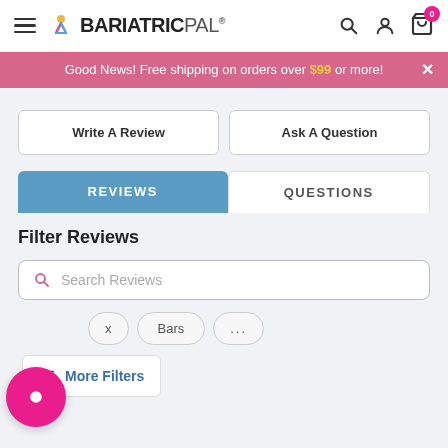BariatricPal - navigation header with search, account, and cart icons
Good News! Free shipping on orders over $99 or more!
Write A Review
Ask A Question
REVIEWS
QUESTIONS
Filter Reviews
Search Reviews
x
Bars
...
More Filters